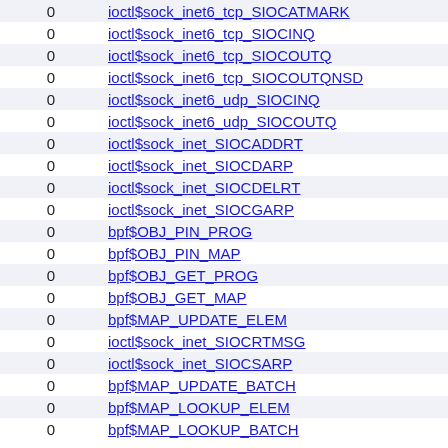|  |  |
| --- | --- |
| 0 | ioctl$sock_inet6_tcp_SIOCATMARK |
| 0 | ioctl$sock_inet6_tcp_SIOCINQ |
| 0 | ioctl$sock_inet6_tcp_SIOCOUTQ |
| 0 | ioctl$sock_inet6_tcp_SIOCOUTQNSD |
| 0 | ioctl$sock_inet6_udp_SIOCINQ |
| 0 | ioctl$sock_inet6_udp_SIOCOUTQ |
| 0 | ioctl$sock_inet_SIOCADDRT |
| 0 | ioctl$sock_inet_SIOCDARP |
| 0 | ioctl$sock_inet_SIOCDELRT |
| 0 | ioctl$sock_inet_SIOCGARP |
| 0 | bpf$OBJ_PIN_PROG |
| 0 | bpf$OBJ_PIN_MAP |
| 0 | bpf$OBJ_GET_PROG |
| 0 | bpf$OBJ_GET_MAP |
| 0 | bpf$MAP_UPDATE_ELEM |
| 0 | ioctl$sock_inet_SIOCRTMSG |
| 0 | ioctl$sock_inet_SIOCSARP |
| 0 | bpf$MAP_UPDATE_BATCH |
| 0 | bpf$MAP_LOOKUP_ELEM |
| 0 | bpf$MAP_LOOKUP_BATCH |